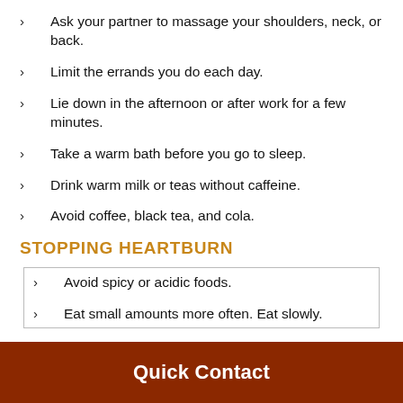Ask your partner to massage your shoulders, neck, or back.
Limit the errands you do each day.
Lie down in the afternoon or after work for a few minutes.
Take a warm bath before you go to sleep.
Drink warm milk or teas without caffeine.
Avoid coffee, black tea, and cola.
STOPPING HEARTBURN
Avoid spicy or acidic foods.
Eat small amounts more often. Eat slowly.
Quick Contact